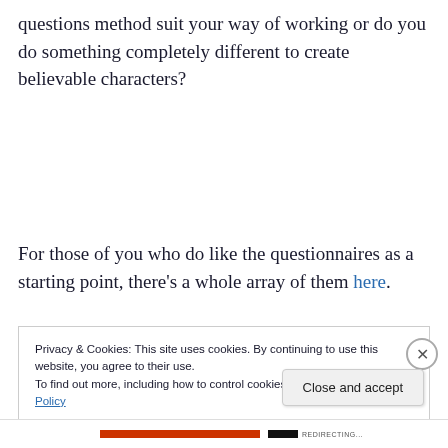questions method suit your way of working or do you do something completely different to create believable characters?
For those of you who do like the questionnaires as a starting point, there's a whole array of them here.
Privacy & Cookies: This site uses cookies. By continuing to use this website, you agree to their use. To find out more, including how to control cookies, see here: Cookie Policy